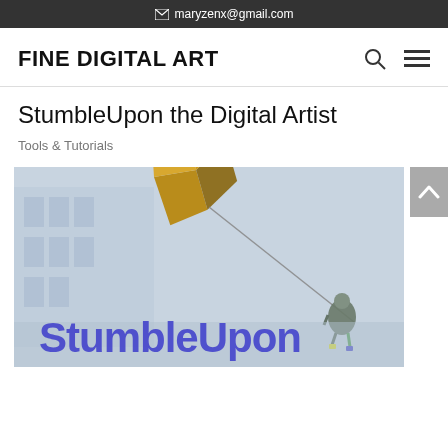maryzenx@gmail.com
FINE DIGITAL ART
StumbleUpon the Digital Artist
Tools & Tutorials
[Figure (illustration): Promotional image for StumbleUpon the Digital Artist: a surreal digital artwork showing a metallic geometric sculpture flying over an urban background, with a figure rappelling on a wire, and bold blue 'StumbleUpon' text overlay.]